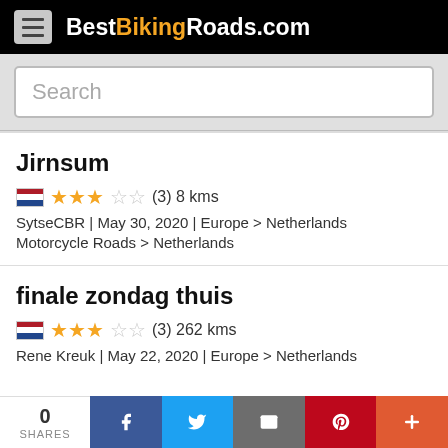BestBikingRoads.com
Search
Jirnsum
★★★☆☆ (3) 8 kms
SytseCBR | May 30, 2020 | Europe > Netherlands
Motorcycle Roads > Netherlands
finale zondag thuis
★★★☆☆ (3) 262 kms
Rene Kreuk | May 22, 2020 | Europe > Netherlands
0 SHARES